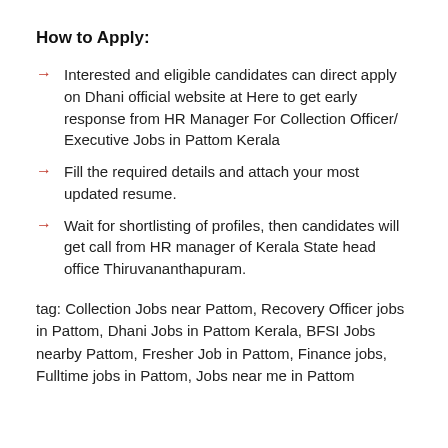How to Apply:
Interested and eligible candidates can direct apply on Dhani official website at Here to get early response from HR Manager For Collection Officer/ Executive Jobs in Pattom Kerala
Fill the required details and attach your most updated resume.
Wait for shortlisting of profiles, then candidates will get call from HR manager of Kerala State head office Thiruvananthapuram.
tag: Collection Jobs near Pattom, Recovery Officer jobs in Pattom, Dhani Jobs in Pattom Kerala, BFSI Jobs nearby Pattom, Fresher Job in Pattom, Finance jobs, Fulltime jobs in Pattom, Jobs near me in Pattom